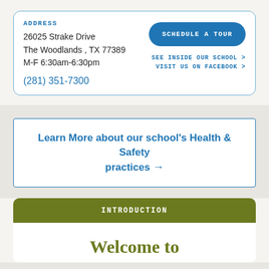ADDRESS
26025 Strake Drive
The Woodlands , TX 77389
M-F 6:30am-6:30pm
SCHEDULE A TOUR
(281) 351-7300
SEE INSIDE OUR SCHOOL >
VISIT US ON FACEBOOK >
Learn More about our school's Health & Safety practices →
INTRODUCTION
Welcome to